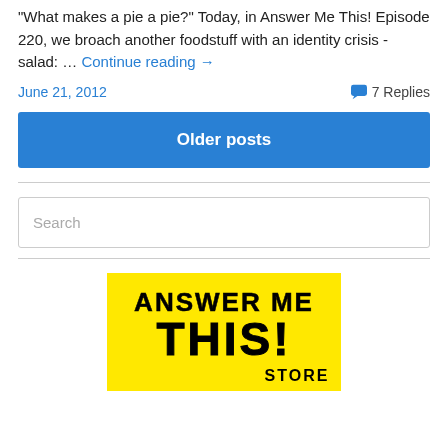"What makes a pie a pie?" Today, in Answer Me This! Episode 220, we broach another foodstuff with an identity crisis - salad: … Continue reading →
June 21, 2012   7 Replies
Older posts
[Figure (screenshot): Search input box with placeholder text 'Search']
[Figure (logo): Answer Me This! Store logo — yellow background with bold black block letters reading ANSWER ME THIS! STORE]